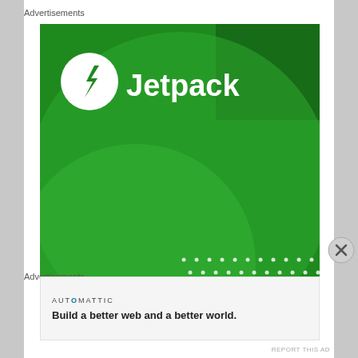Advertisements
[Figure (illustration): Jetpack advertisement banner with green background, Jetpack logo (lightning bolt in circle) and text 'Jetpack', large decorative circles, dot pattern, and partial text 'The best' at bottom]
[Figure (logo): Close/dismiss button (X in circle) on the right side]
Advertisements
[Figure (illustration): Automattic advertisement panel with company name 'AUTOMATTIC' and tagline 'Build a better web and a better world.']
REPORT THIS AD